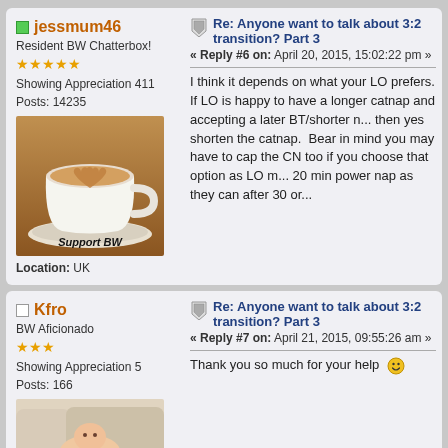jessmum46 - Resident BW Chatterbox! - Showing Appreciation 411 - Posts: 14235 - Location: UK
[Figure (photo): Coffee latte art cup with heart on top, text 'Support BW' written below on saucer area]
Re: Anyone want to talk about 3:2 transition? Part 3
Reply #6 on: April 20, 2015, 15:02:22 pm
I think it depends on what your LO prefers. If LO is happy to have a longer catnap and accepting a later BT/shorter n... then yes shorten the catnap. Bear in mind you may have to cap the CN too if you choose that option as LO m... 20 min power nap as they can after 30 or...
Kfro - BW Aficionado - Showing Appreciation 5 - Posts: 166
[Figure (photo): Baby lying on couch cushions]
Re: Anyone want to talk about 3:2 transition? Part 3
Reply #7 on: April 21, 2015, 09:55:26 am
Thank you so much for your help